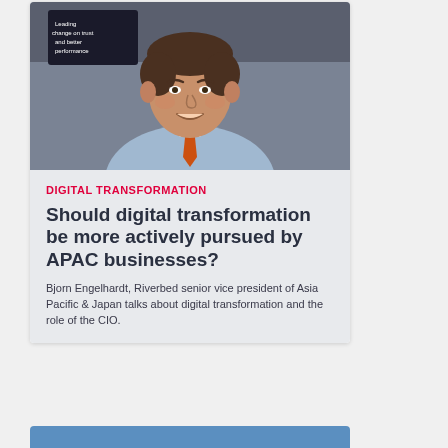[Figure (photo): Portrait photo of Bjorn Engelhardt, a man in a light blue dress shirt and orange tie, smiling at the camera against a dark background]
DIGITAL TRANSFORMATION
Should digital transformation be more actively pursued by APAC businesses?
Bjorn Engelhardt, Riverbed senior vice president of Asia Pacific & Japan talks about digital transformation and the role of the CIO.